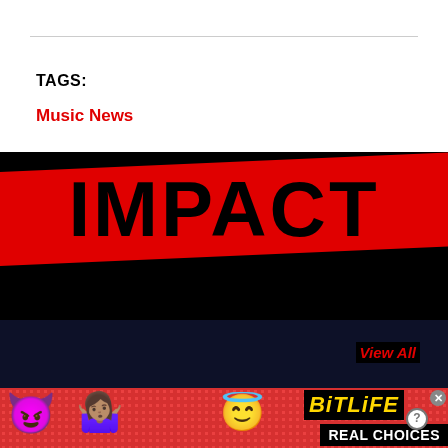TAGS:
Music News
[Figure (logo): IMPACT magazine logo in bold black text on red band over black background]
View All
[Figure (infographic): BitLife app advertisement banner with devil emoji, person emoji, angel emoji, sperm icon, BitLife logo in yellow italic text, REAL CHOICES text on black background, on red dotted background]